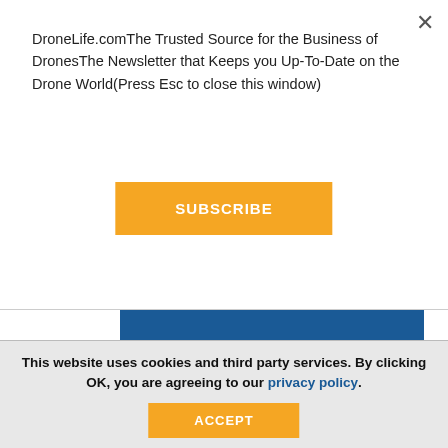DroneLife.comThe Trusted Source for the Business of DronesThe Newsletter that Keeps you Up-To-Date on the Drone World(Press Esc to close this window)
SUBSCRIBE
[Figure (other): Blue horizontal banner bar]
CLICK FOR FREE TRIAL
This website uses cookies and third party services. By clicking OK, you are agreeing to our privacy policy.
ACCEPT